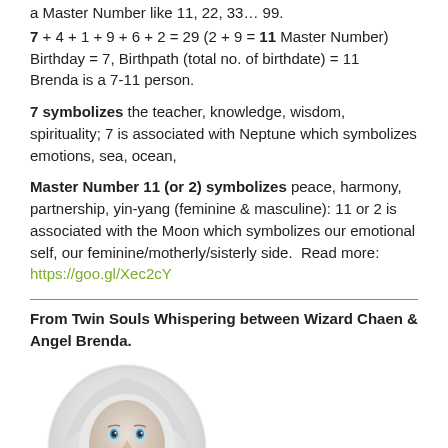a Master Number like 11, 22, 33… 99.
7 + 4 + 1 + 9 + 6 + 2 = 29 (2 + 9 = 11 Master Number)
Birthday = 7, Birthpath (total no. of birthdate) = 11
Brenda is a 7-11 person.
7 symbolizes the teacher, knowledge, wisdom, spirituality; 7 is associated with Neptune which symbolizes emotions, sea, ocean,
Master Number 11 (or 2) symbolizes peace, harmony, partnership, yin-yang (feminine & masculine): 11 or 2 is associated with the Moon which symbolizes our emotional self, our feminine/motherly/sisterly side.  Read more: https://goo.gl/Xec2cY
From Twin Souls Whispering between Wizard Chaen & Angel Brenda.
[Figure (photo): Black and white photo of a young child in a hooded outfit, finger to lips in a whispering/shushing gesture, with light blue eyes visible.]